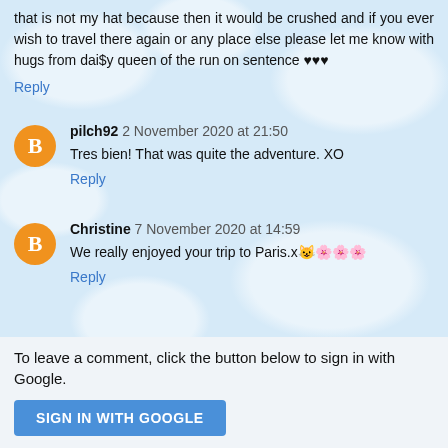that is not my hat because then it would be crushed and if you ever wish to travel there again or any place else please let me know with hugs from dai$y queen of the run on sentence ♥♥♥
Reply
pilch92  2 November 2020 at 21:50
Tres bien! That was quite the adventure. XO
Reply
Christine  7 November 2020 at 14:59
We really enjoyed your trip to Paris.x🐱🌸🌸🌸
Reply
To leave a comment, click the button below to sign in with Google.
SIGN IN WITH GOOGLE